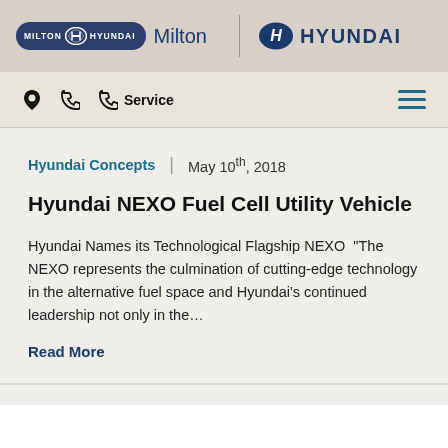Milton Hyundai Milton | Hyundai
Service
Hyundai Concepts | May 10th, 2018
Hyundai NEXO Fuel Cell Utility Vehicle
Hyundai Names its Technological Flagship NEXO “The NEXO represents the culmination of cutting-edge technology in the alternative fuel space and Hyundai’s continued leadership not only in the…
Read More